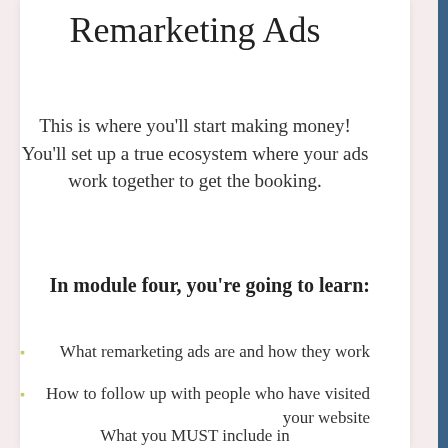Remarketing Ads
This is where you'll start making money! You'll set up a true ecosystem where your ads work together to get the booking.
In module four, you're going to learn:
What remarketing ads are and how they work
How to follow up with people who have visited your website
What you MUST include in